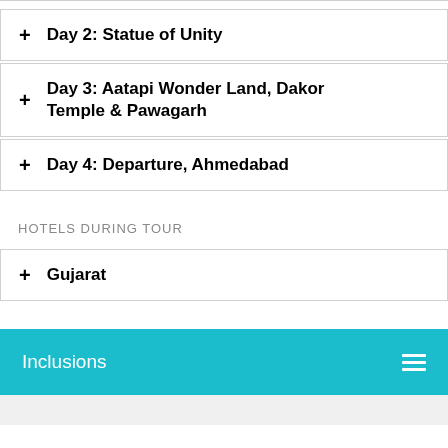+ Day 2: Statue of Unity
+ Day 3: Aatapi Wonder Land, Dakor Temple & Pawagarh
+ Day 4: Departure, Ahmedabad
HOTELS DURING TOUR
+ Gujarat
Inclusions